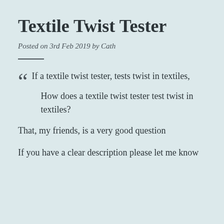Textile Twist Tester
Posted on 3rd Feb 2019 by Cath
If a textile twist tester, tests twist in textiles,

How does a textile twist tester test twist in textiles?
That, my friends, is a very good question
If you have a clear description please let me know